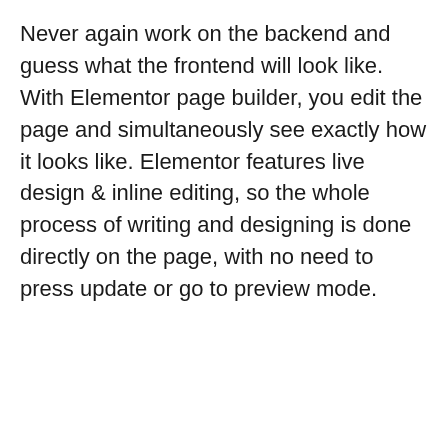Never again work on the backend and guess what the frontend will look like. With Elementor page builder, you edit the page and simultaneously see exactly how it looks like. Elementor features live design & inline editing, so the whole process of writing and designing is done directly on the page, with no need to press update or go to preview mode.